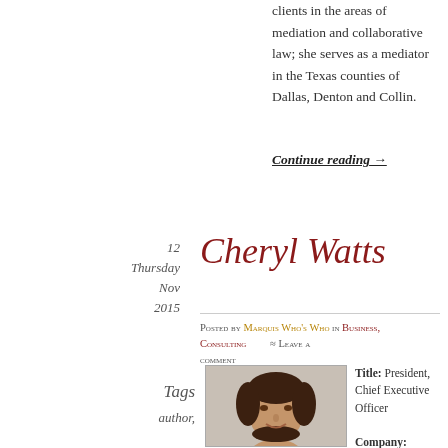clients in the areas of mediation and collaborative law; she serves as a mediator in the Texas counties of Dallas, Denton and Collin.
Continue reading →
12
Thursday
Nov
2015
Cheryl Watts
Posted by Marquis Who's Who in Business, Consulting ≈ Leave a comment
Tags
author,
[Figure (photo): Headshot photo of Cheryl Watts, a woman with dark brown hair]
Title: President, Chief Executive Officer
Company: